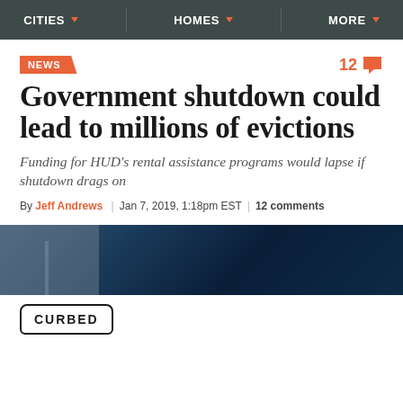CITIES   HOMES   MORE
NEWS
Government shutdown could lead to millions of evictions
Funding for HUD's rental assistance programs would lapse if shutdown drags on
By Jeff Andrews | Jan 7, 2019, 1:18pm EST | 12 comments
[Figure (photo): Partial view of a building exterior against a blue sky]
[Figure (logo): Curbed logo in a house-shaped outline]